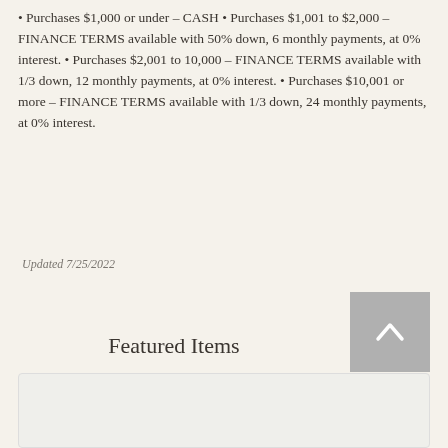• Purchases $1,000 or under – CASH • Purchases $1,001 to $2,000 – FINANCE TERMS available with 50% down, 6 monthly payments, at 0% interest. • Purchases $2,001 to 10,000 – FINANCE TERMS available with 1/3 down, 12 monthly payments, at 0% interest. • Purchases $10,001 or more – FINANCE TERMS available with 1/3 down, 24 monthly payments, at 0% interest.
Updated 7/25/2022
Featured Items
[Figure (photo): Photo of alpaca against blue sky (left)]
[Figure (photo): Photo of dark alpaca with green trees and blue sky (right)]